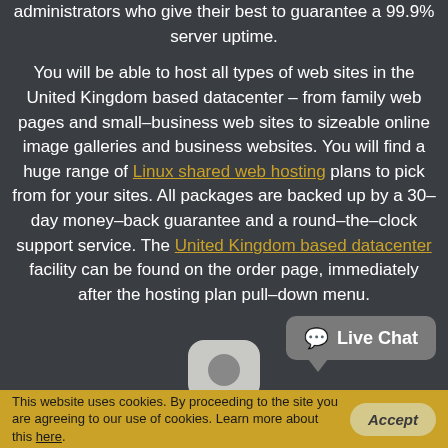administrators who give their best to guarantee a 99.9% server uptime.

You will be able to host all types of web sites in the United Kingdom based datacenter – from family web pages and small–business web sites to sizeable online image galleries and business websites. You will find a huge range of Linux shared web hosting plans to pick from for your sites. All packages are backed up by a 30–day money–back guarantee and a round–the–clock support service. The United Kingdom based datacenter facility can be found on the order page, immediately after the hosting plan pull–down menu.
[Figure (screenshot): Live Chat button widget (speech bubble icon with text 'Live Chat') on dark background, and a rounded square icon button below it]
This website uses cookies. By proceeding to the site you are agreeing to our use of cookies. Learn more about this here.